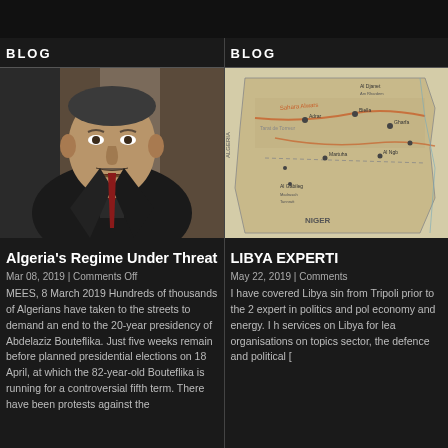BLOG
[Figure (photo): Photo of elderly man in dark suit, appearing to be Abdelaziz Bouteflika]
Algeria's Regime Under Threat
Mar 08, 2019 | Comments Off
MEES, 8 March 2019 Hundreds of thousands of Algerians have taken to the streets to demand an end to the 20-year presidency of Abdelaziz Bouteflika. Just five weeks remain before planned presidential elections on 18 April, at which the 82-year-old Bouteflika is running for a controversial fifth term. There have been protests against the
BLOG
[Figure (map): Map of Libya showing regions, cities and borders including Niger]
LIBYA EXPERTI
May 22, 2019 | Comments
I have covered Libya sin from Tripoli prior to the 2 expert in politics and pol economy and energy. I h services on Libya for lea organisations on topics sector, the defence and political [